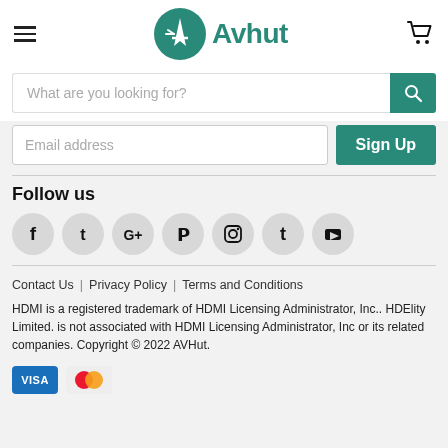Avhut
What are you looking for?
Email address  Sign Up
Follow us
[Figure (other): Social media icons: Facebook, Twitter, Google+, Pinterest, Instagram, Tumblr, YouTube]
Contact Us | Privacy Policy | Terms and Conditions
HDMI is a registered trademark of HDMI Licensing Administrator, Inc.. HDElity Limited. is not associated with HDMI Licensing Administrator, Inc or its related companies. Copyright © 2022 AVHut.